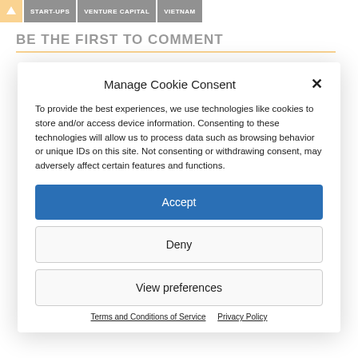START-UPS | VENTURE CAPITAL | VIETNAM
BE THE FIRST TO COMMENT
Manage Cookie Consent
To provide the best experiences, we use technologies like cookies to store and/or access device information. Consenting to these technologies will allow us to process data such as browsing behavior or unique IDs on this site. Not consenting or withdrawing consent, may adversely affect certain features and functions.
Accept
Deny
View preferences
Terms and Conditions of Service   Privacy Policy